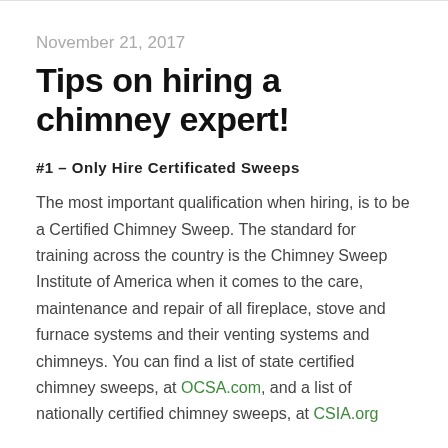November 21, 2017
Tips on hiring a chimney expert!
#1 – Only Hire Certificated Sweeps
The most important qualification when hiring, is to be a Certified Chimney Sweep. The standard for training across the country is the Chimney Sweep Institute of America when it comes to the care, maintenance and repair of all fireplace, stove and furnace systems and their venting systems and chimneys. You can find a list of state certified chimney sweeps, at OCSA.com, and a list of nationally certified chimney sweeps, at CSIA.org